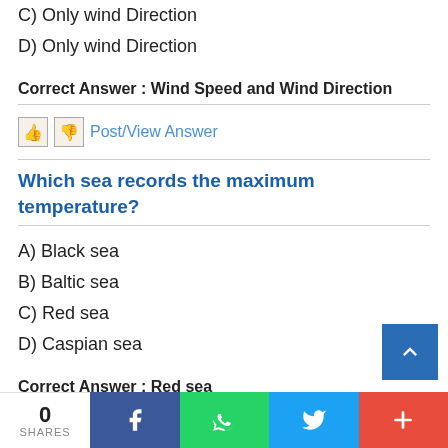C) Only wind Direction
D) Only wind Direction
Correct Answer : Wind Speed and Wind Direction
Post/View Answer
Which sea records the maximum temperature?
A) Black sea
B) Baltic sea
C) Red sea
D) Caspian sea
Correct Answer : Red sea
Post/View Answer
Which of the following factors is not responsi...